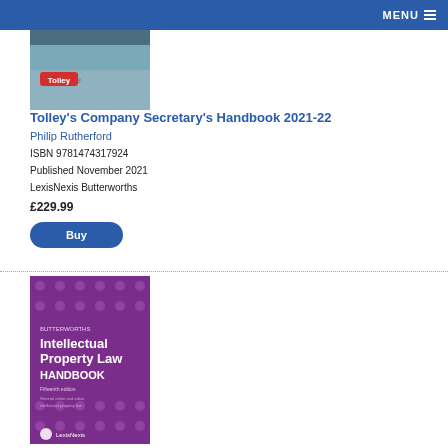MENU
[Figure (illustration): Book cover for Tolley's Company Secretary's Handbook 2021-22 with Tolley brand label]
Tolley's Company Secretary's Handbook 2021-22
Philip Rutherford
ISBN 9781474317924
Published November 2021
LexisNexis Butterworths
£229.99
Buy
[Figure (illustration): Book cover for Butterworths Intellectual Property Law Handbook, purple cover with dot pattern and LexisNexis logo]